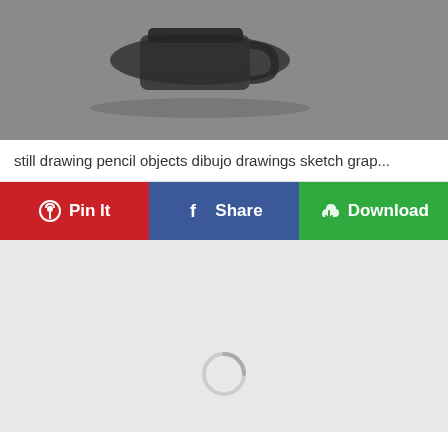[Figure (photo): Black and white photograph showing still life pencil drawing objects — appears to be cups or pots, partially cropped at top of page]
still drawing pencil objects dibujo drawings sketch grap...
[Figure (infographic): Three action buttons: Pin It (red, Pinterest), Share (blue, Facebook), Download (green, with download icon)]
[Figure (screenshot): Large light gray content area with a loading spinner circle at the bottom center, indicating content is loading]